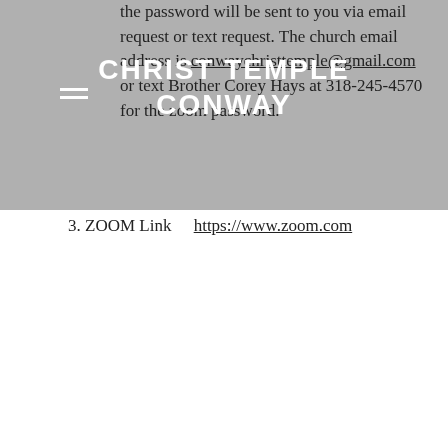CHRIST TEMPLE CONWAY
the password will be sent to you via email request or text request. The church email address is conwaychristtemple@gmail.com or text Brother Corey Hays at 318-245-4570 for the zoom password.
3. ZOOM Link     https://www.zoom.com